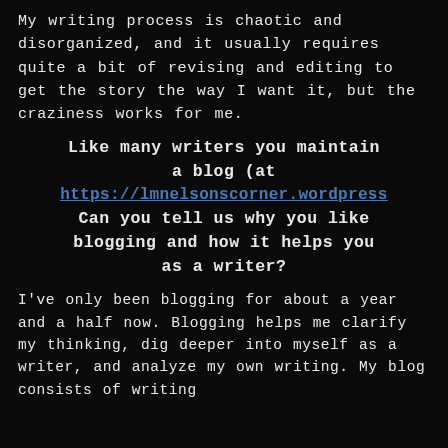My writing process is chaotic and disorganized, and it usually requires quite a bit of revising and editing to get the story the way I want it, but the craziness works for me.
Like many writers you maintain a blog (at https://lmnelsonscorner.wordpress. Can you tell us why you like blogging and how it helps you as a writer?
I've only been blogging for about a year and a half now. Blogging helps me clarify my thinking, dig deeper into myself as a writer, and analyze my own writing. My blog consists of writing